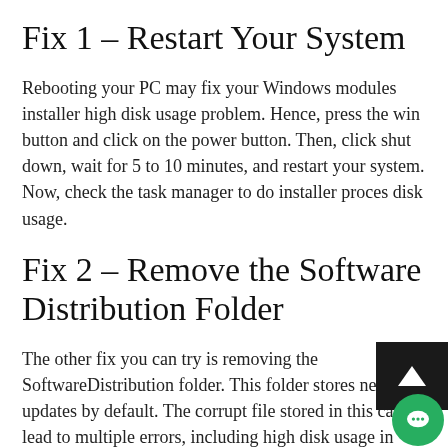Fix 1 – Restart Your System
Rebooting your PC may fix your Windows modules installer high disk usage problem. Hence, press the win button and click on the power button. Then, click shut down, wait for 5 to 10 minutes, and restart your system. Now, check the task manager to do installer proces disk usage.
Fix 2 – Remove the Software Distribution Folder
The other fix you can try is removing the SoftwareDistribution folder. This folder stores new updates by default. The corrupt file stored in this can lead to multiple errors, including high disk usage in